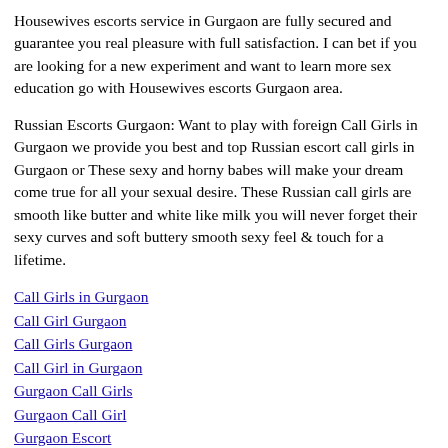Housewives escorts service in Gurgaon are fully secured and guarantee you real pleasure with full satisfaction. I can bet if you are looking for a new experiment and want to learn more sex education go with Housewives escorts Gurgaon area.
Russian Escorts Gurgaon: Want to play with foreign Call Girls in Gurgaon we provide you best and top Russian escort call girls in Gurgaon or These sexy and horny babes will make your dream come true for all your sexual desire. These Russian call girls are smooth like butter and white like milk you will never forget their sexy curves and soft buttery smooth sexy feel & touch for a lifetime.
Call Girls in Gurgaon
Call Girl Gurgaon
Call Girls Gurgaon
Call Girl in Gurgaon
Gurgaon Call Girls
Gurgaon Call Girl
Gurgaon Escort
Gurgaon Escorts
Escort in Gurgaon
Escorts in Gurgaon
Escorts in Gurgaon